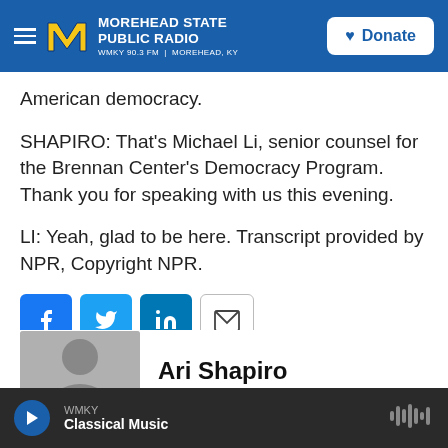[Figure (logo): Morehead State Public Radio header with hamburger menu, M logo, station name WMKY 90.3 FM | Morehead, KY, and Donate button]
American democracy.
SHAPIRO: That's Michael Li, senior counsel for the Brennan Center's Democracy Program. Thank you for speaking with us this evening.
LI: Yeah, glad to be here. Transcript provided by NPR, Copyright NPR.
[Figure (infographic): Social sharing buttons: Facebook, Twitter, LinkedIn, Email]
[Figure (photo): Headshot photo of Ari Shapiro]
Ari Shapiro
WMKY Classical Music — audio player bar